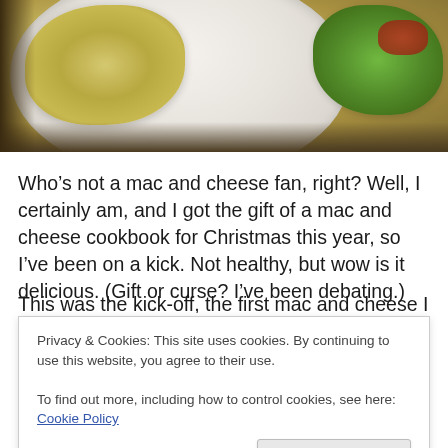[Figure (photo): Photo of a white plate with mac and cheese on the left side and a green salad with red tomatoes on the right side, on a dark surface.]
Who’s not a mac and cheese fan, right? Well, I certainly am, and I got the gift of a mac and cheese cookbook for Christmas this year, so I’ve been on a kick. Not healthy, but wow is it delicious. (Gift or curse? I’ve been debating.)
Privacy & Cookies: This site uses cookies. By continuing to use this website, you agree to their use.
To find out more, including how to control cookies, see here: Cookie Policy
the bread crumbs on top give it a nice crunch.